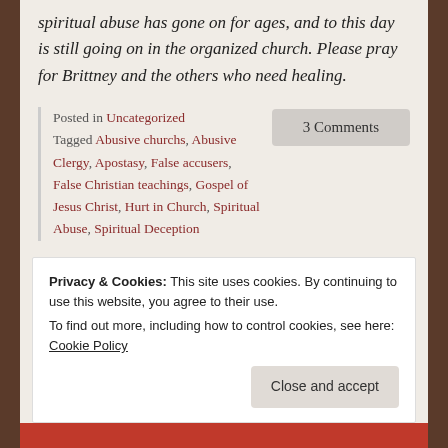spiritual abuse has gone on for ages, and to this day is still going on in the organized church. Please pray for Brittney and the others who need healing.
Posted in Uncategorized
Tagged Abusive churchs, Abusive Clergy, Apostasy, False accusers, False Christian teachings, Gospel of Jesus Christ, Hurt in Church, Spiritual Abuse, Spiritual Deception
3 Comments
Privacy & Cookies: This site uses cookies. By continuing to use this website, you agree to their use.
To find out more, including how to control cookies, see here: Cookie Policy
Close and accept